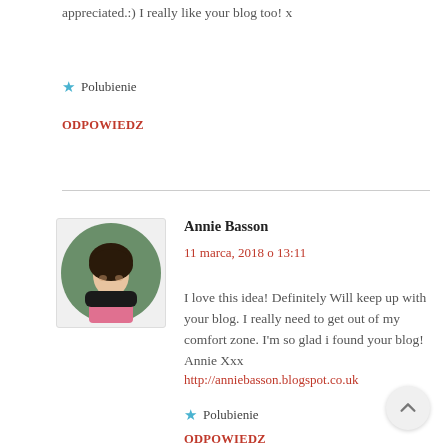appreciated.:) I really like your blog too! x
★ Polubienie
ODPOWIEDZ
[Figure (photo): Avatar photo of Annie Basson, a woman with dark hair in a circular crop]
Annie Basson
11 marca, 2018 o 13:11
I love this idea! Definitely Will keep up with your blog. I really need to get out of my comfort zone. I'm so glad i found your blog! Annie Xxx
http://anniebasson.blogspot.co.uk
★ Polubienie
ODPOWIEDZ